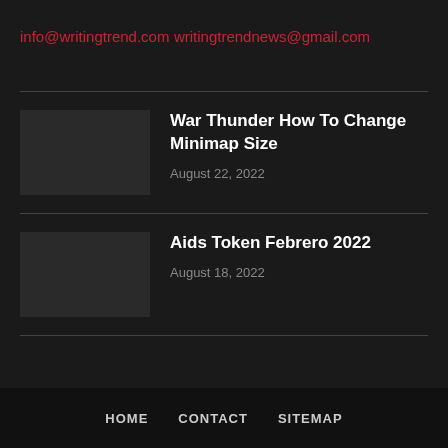info@writingtrend.com
writingtrendnews@gmail.com
War Thunder How To Change Minimap Size
August 22, 2022
Aids Token Febrero 2022
August 18, 2022
HOME   CONTACT   SITEMAP